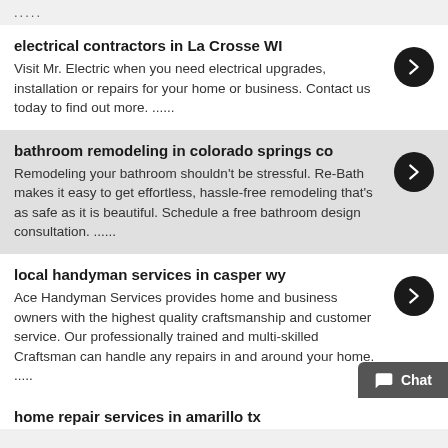.....
electrical contractors in La Crosse WI
Visit Mr. Electric when you need electrical upgrades, installation or repairs for your home or business. Contact us today to find out more. ......
bathroom remodeling in colorado springs co
Remodeling your bathroom shouldn't be stressful. Re-Bath makes it easy to get effortless, hassle-free remodeling that's as safe as it is beautiful. Schedule a free bathroom design consultation. ......
local handyman services in casper wy
Ace Handyman Services provides home and business owners with the highest quality craftsmanship and customer service. Our professionally trained and multi-skilled Craftsman can handle any repairs in and around your home.
.....
home repair services in amarillo tx